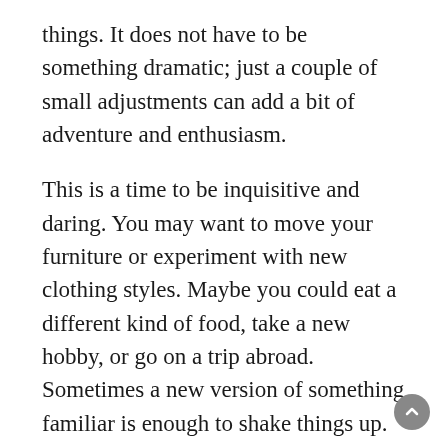things. It does not have to be something dramatic; just a couple of small adjustments can add a bit of adventure and enthusiasm.
This is a time to be inquisitive and daring. You may want to move your furniture or experiment with new clothing styles. Maybe you could eat a different kind of food, take a new hobby, or go on a trip abroad. Sometimes a new version of something familiar is enough to shake things up. Even an act of random goodness can be an adventure in itself.
To improve your current situation, you are asked to adjust and harmonize with the rhythm and natural cycles of your life that are leading you to